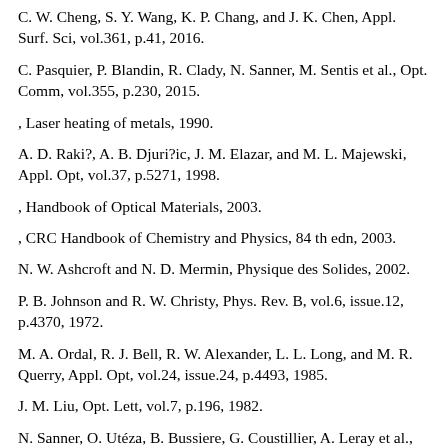C. W. Cheng, S. Y. Wang, K. P. Chang, and J. K. Chen, Appl. Surf. Sci, vol.361, p.41, 2016.
C. Pasquier, P. Blandin, R. Clady, N. Sanner, M. Sentis et al., Opt. Comm, vol.355, p.230, 2015.
, Laser heating of metals, 1990.
A. D. Raki?, A. B. Djuri?ic, J. M. Elazar, and M. L. Majewski, Appl. Opt, vol.37, p.5271, 1998.
, Handbook of Optical Materials, 2003.
, CRC Handbook of Chemistry and Physics, 84 th edn, 2003.
N. W. Ashcroft and N. D. Mermin, Physique des Solides, 2002.
P. B. Johnson and R. W. Christy, Phys. Rev. B, vol.6, issue.12, p.4370, 1972.
M. A. Ordal, R. J. Bell, R. W. Alexander, L. L. Long, and M. R. Querry, Appl. Opt, vol.24, issue.24, p.4493, 1985.
J. M. Liu, Opt. Lett, vol.7, p.196, 1982.
N. Sanner, O. Utéza, B. Bussiere, G. Coustillier, A. Leray et al., Appl. Phys. A, vol. ???, 2011.